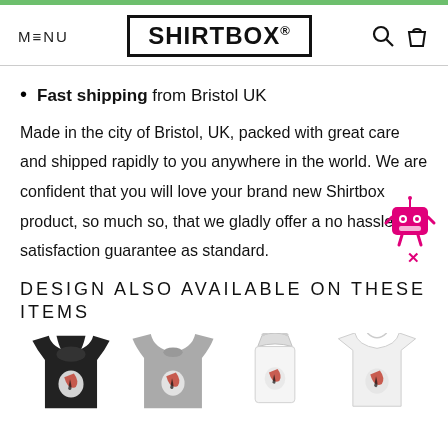MENU   SHIRTBOX®   [search] [bag]
Fast shipping from Bristol UK
Made in the city of Bristol, UK, packed with great care and shipped rapidly to you anywhere in the world. We are confident that you will love your brand new Shirtbox product, so much so, that we gladly offer a no hassle satisfaction guarantee as standard.
DESIGN ALSO AVAILABLE ON THESE ITEMS
[Figure (photo): Four product thumbnails: black hoodie, grey sweatshirt, white apron, white t-shirt, each with the same graphic design print]